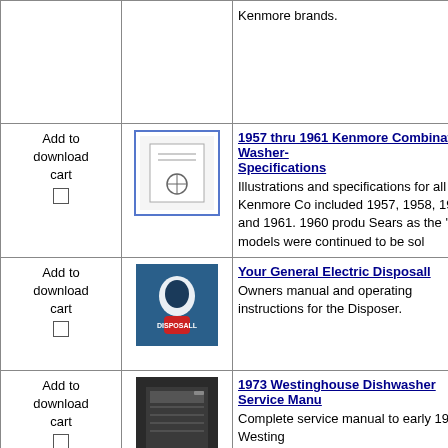| Add to download cart | Image | Description |
| --- | --- | --- |
| Add to download cart □ | [image] | Kenmore brands. |
| Add to download cart □ | [1957 Kenmore manual thumbnail] | 1957 thru 1961 Kenmore Combination Washer- Specifications
Illustrations and specifications for all Kenmore Co included 1957, 1958, 1959 and 1961. 1960 prod Sears as the '59 models were continued to be sol |
| Add to download cart □ | [GE Disposall thumbnail] | Your General Electric Disposall
Owners manual and operating instructions for the Disposer. |
| Add to download cart □ | [1973 Westinghouse thumbnail] | 1973 Westinghouse Dishwasher Service Manu Complete service manual to early 1970's Westing

Sections include: Feature Chart, Specifications, I Identification, Cycle of Operation, Trouble Diagno Replacements/Adjustments. |
| Add to download cart □ | [McClary thumbnail] | For Features and Value Look at McClary
Wonderful catalog highlighting all of GSW and Mc Products include refrigerators, electric ranges, dis washers, dryers, wringer washers, twin-tub washe conditioners. |